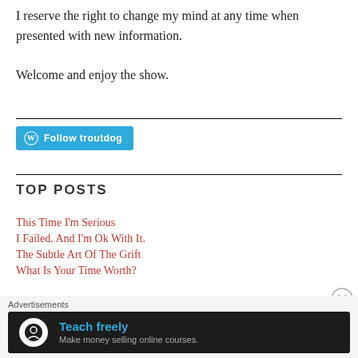I reserve the right to change my mind at any time when presented with new information.
Welcome and enjoy the show.
[Figure (other): Follow troutdog WordPress button]
TOP POSTS
This Time I'm Serious
I Failed. And I'm Ok With It.
The Subtle Art Of The Grift
What Is Your Time Worth?
[Figure (other): Advertisement banner: Teach freely - Make money selling online courses.]